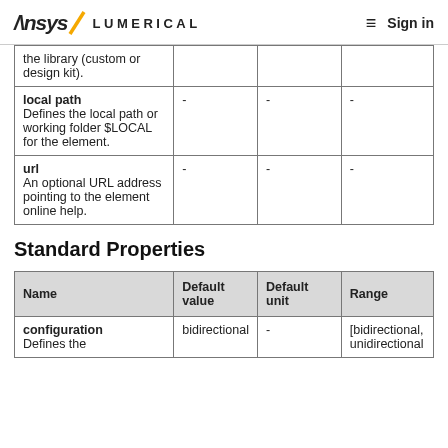Ansys / LUMERICAL  ≡  Sign in
| the library (custom or design kit). |  |  |  |
| local path
Defines the local path or working folder $LOCAL for the element. | - | - | - |
| url
An optional URL address pointing to the element online help. | - | - | - |
Standard Properties
| Name | Default value | Default unit | Range |
| --- | --- | --- | --- |
| configuration
Defines the | bidirectional | - | [bidirectional, unidirectional |